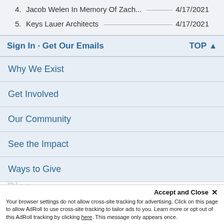4. Jacob Welen In Memory Of Zach... 4/17/2021
5. Keys Lauer Architects 4/17/2021
Sign In · Get Our Emails   TOP ↑
Why We Exist
Get Involved
Our Community
See the Impact
Ways to Give
Blog
Accept and Close ×
Your browser settings do not allow cross-site tracking for advertising. Click on this page to allow AdRoll to use cross-site tracking to tailor ads to you. Learn more or opt out of this AdRoll tracking by clicking here. This message only appears once.